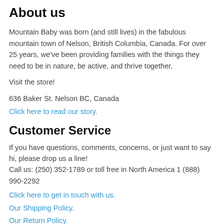About us
Mountain Baby was born (and still lives) in the fabulous mountain town of Nelson, British Columbia, Canada. For over 25 years, we've been providing families with the things they need to be in nature, be active, and thrive together.
Visit the store!
636 Baker St. Nelson BC, Canada
Click here to read our story.
Customer Service
If you have questions, comments, concerns, or just want to say hi, please drop us a line!
Call us: (250) 352-1789 or toll free in North America 1 (888) 990-2292
Click here to get in touch with us.
Our Shipping Policy.
Our Return Policy.
Our Privacy Policy.